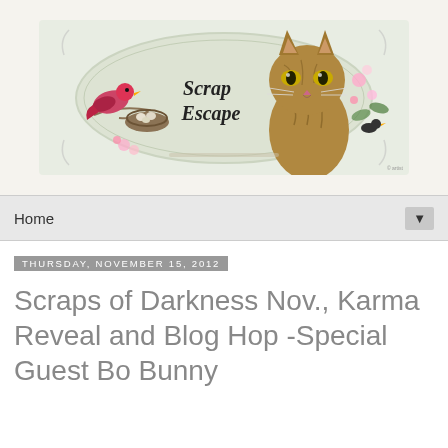[Figure (illustration): Decorative blog header banner for 'Scrap Escape' blog featuring a tabby cat, a pink bird on a branch with a nest, floral elements, and ornate vintage frame with italic text reading 'Scrap Escape']
Home
Thursday, November 15, 2012
Scraps of Darkness Nov., Karma Reveal and Blog Hop -Special Guest Bo Bunny